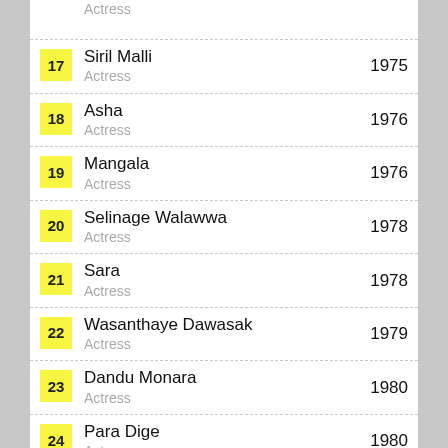17 Siril Malli Actress 1975
18 Asha Actress 1976
19 Mangala Actress 1976
20 Selinage Walawwa Actress 1978
21 Sara Actress 1978
22 Wasanthaye Dawasak Actress 1979
23 Dandu Monara Actress 1980
24 Para Dige Actress 1980